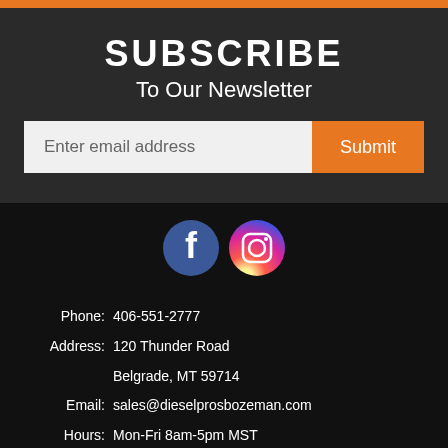SUBSCRIBE
To Our Newsletter
Enter email address
[Figure (illustration): Facebook and Instagram social media icons side by side]
Phone: 406-551-2777
Address: 120 Thunder Road
Belgrade, MT 59714
Email: sales@dieselprosbozeman.com
Hours: Mon-Fri 8am-5pm MST